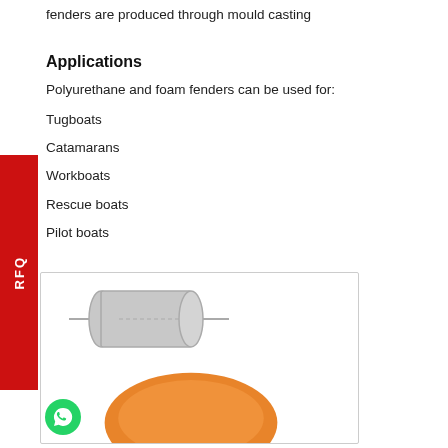fenders are produced through mould casting
Applications
Polyurethane and foam fenders can be used for:
Tugboats
Catamarans
Workboats
Rescue boats
Pilot boats
[Figure (illustration): Grey cylindrical fender diagram with rod through center, and orange foam fender shape below; WhatsApp icon in corner]